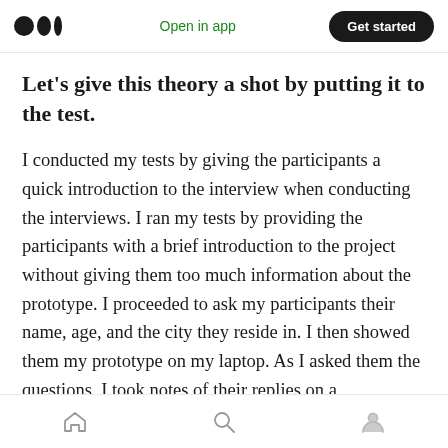Open in app | Get started
Let's give this theory a shot by putting it to the test.
I conducted my tests by giving the participants a quick introduction to the interview when conducting the interviews. I ran my tests by providing the participants with a brief introduction to the project without giving them too much information about the prototype. I proceeded to ask my participants their name, age, and the city they reside in. I then showed them my prototype on my laptop. As I asked them the questions, I took notes of their replies on a
home | search | profile